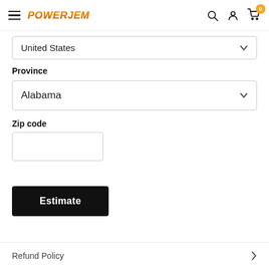PowerJam logo, hamburger menu, search, user, and cart icons (badge: 0)
United States
Province
Alabama
Zip code
Estimate
Refund Policy